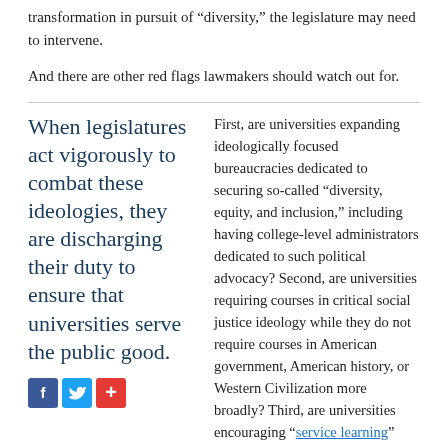transformation in pursuit of “diversity,” the legislature may need to intervene.
And there are other red flags lawmakers should watch out for.
When legislatures act vigorously to combat these ideologies, they are discharging their duty to ensure that universities serve the public good.
First, are universities expanding ideologically focused bureaucracies dedicated to securing so-called “diversity, equity, and inclusion,” including having college-level administrators dedicated to such political advocacy? Second, are universities requiring courses in critical social justice ideology while they do not require courses in American government, American history, or Western Civilization more broadly? Third, are universities encouraging “service learning” programs, which give students credit for “learning” done in the service of progressive advocacy while requiring minimal